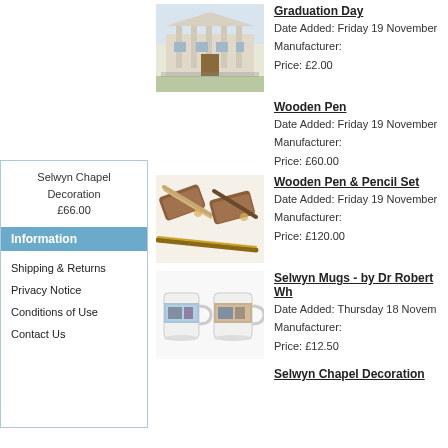Selwyn Chapel Decoration
£66.00
Information
Shipping & Returns
Privacy Notice
Conditions of Use
Contact Us
[Figure (photo): Illustration of a classical building (Graduation Day)]
Graduation Day
Date Added: Friday 19 November
Manufacturer:
Price: £2.00
Wooden Pen
Date Added: Friday 19 November
Manufacturer:
Price: £60.00
[Figure (photo): Photo of wooden pen and pencil set in wooden cases]
Wooden Pen & Pencil Set
Date Added: Friday 19 November
Manufacturer:
Price: £120.00
[Figure (photo): Photo of two Selwyn mugs with college illustration]
Selwyn Mugs - by Dr Robert Wh
Date Added: Thursday 18 November
Manufacturer:
Price: £12.50
Selwyn Chapel Decoration